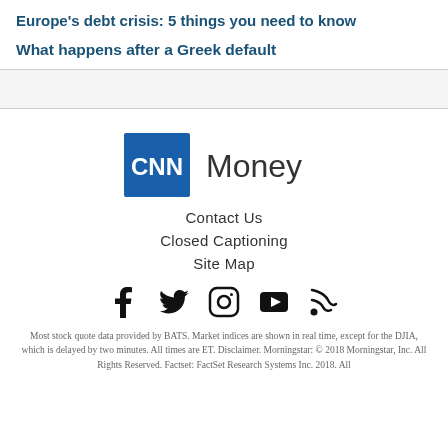Europe's debt crisis: 5 things you need to know
What happens after a Greek default
[Figure (logo): CNN Money logo with blue CNN box and 'Money' text]
Contact Us
Closed Captioning
Site Map
[Figure (infographic): Social media icons: Facebook, Twitter, Instagram, YouTube, RSS]
Most stock quote data provided by BATS. Market indices are shown in real time, except for the DJIA, which is delayed by two minutes. All times are ET. Disclaimer. Morningstar: © 2018 Morningstar, Inc. All Rights Reserved. Factset: FactSet Research Systems Inc. 2018. All